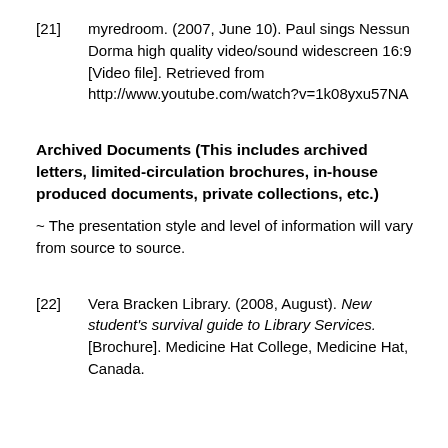[21]    myredroom. (2007, June 10). Paul sings Nessun Dorma high quality video/sound widescreen 16:9 [Video file]. Retrieved from http://www.youtube.com/watch?v=1k08yxu57NA
Archived Documents (This includes archived letters, limited-circulation brochures, in-house produced documents, private collections, etc.)
~ The presentation style and level of information will vary from source to source.
[22]    Vera Bracken Library. (2008, August). New student's survival guide to Library Services. [Brochure]. Medicine Hat College, Medicine Hat, Canada.